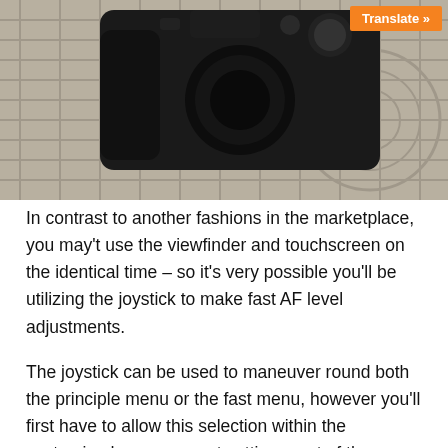[Figure (photo): Black camera sitting on a decorative metallic surface with circular and lattice patterns, photographed from above]
In contrast to another fashions in the marketplace, you may't use the viewfinder and touchscreen on the identical time – so it's very possible you'll be utilizing the joystick to make fast AF level adjustments.
The joystick can be used to maneuver round both the principle menu or the fast menu, however you'll first have to allow this selection within the customized management settings part of the menu.
The short menu itself may be accessed by urgent